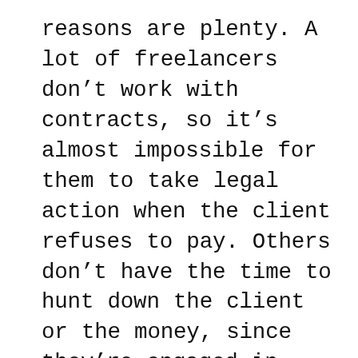reasons are plenty. A lot of freelancers don't work with contracts, so it's almost impossible for them to take legal action when the client refuses to pay. Others don't have the time to hunt down the client or the money, since they're engaged in more important projects at the moment. And when it comes to small claims court, there are caps on how much you can collect; not to mention that we're talking about a lengthy and energy-draining process a lot of us aren't prepared for. Some freelancers can't